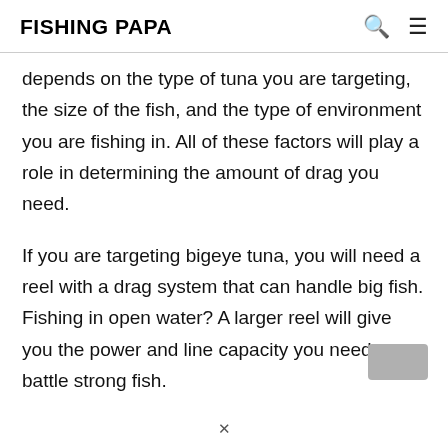FISHING PAPA
depends on the type of tuna you are targeting, the size of the fish, and the type of environment you are fishing in. All of these factors will play a role in determining the amount of drag you need.
If you are targeting bigeye tuna, you will need a reel with a drag system that can handle big fish. Fishing in open water? A larger reel will give you the power and line capacity you need to battle strong fish.